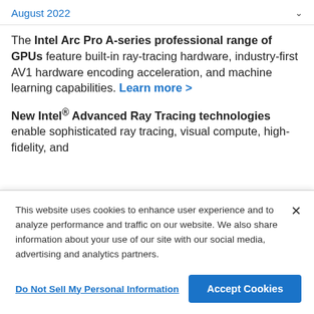August 2022
The Intel Arc Pro A-series professional range of GPUs feature built-in ray-tracing hardware, industry-first AV1 hardware encoding acceleration, and machine learning capabilities. Learn more >
New Intel® Advanced Ray Tracing technologies enable sophisticated ray tracing, visual compute, high-fidelity, and
This website uses cookies to enhance user experience and to analyze performance and traffic on our website. We also share information about your use of our site with our social media, advertising and analytics partners.
Do Not Sell My Personal Information
Accept Cookies